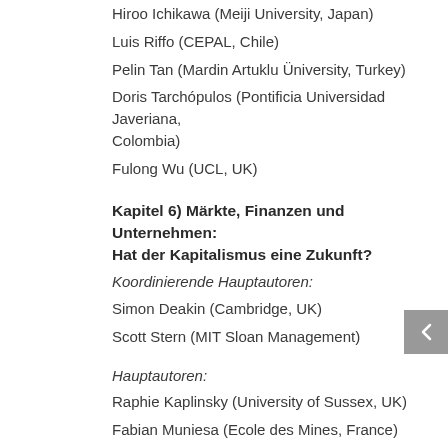Hiroo Ichikawa (Meiji University, Japan)
Luis Riffo (CEPAL, Chile)
Pelin Tan (Mardin Artuklu Üniversity, Turkey)
Doris Tarchópulos (Pontificia Universidad Javeriana, Colombia)
Fulong Wu (UCL, UK)
Kapitel 6) Märkte, Finanzen und Unternehmen: Hat der Kapitalismus eine Zukunft?
Koordinierende Hauptautoren:
Simon Deakin (Cambridge, UK)
Scott Stern (MIT Sloan Management)
Hauptautoren:
Raphie Kaplinsky (University of Sussex, UK)
Fabian Muniesa (Ecole des Mines, France)
Mustapha Nabli (Economic Research Forum,